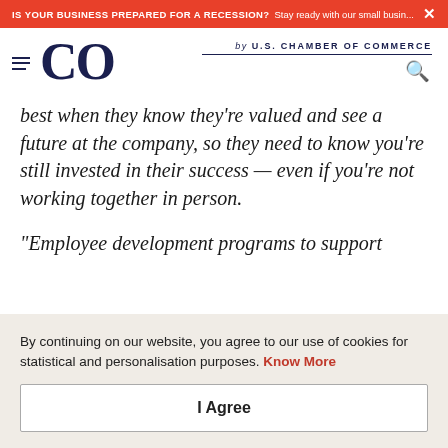IS YOUR BUSINESS PREPARED FOR A RECESSION? Stay ready with our small busin... ×
CO by U.S. CHAMBER OF COMMERCE
best when they know they're valued and see a future at the company, so they need to know you're still invested in their success — even if you're not working together in person.
"Employee development programs to support
By continuing on our website, you agree to our use of cookies for statistical and personalisation purposes. Know More
I Agree